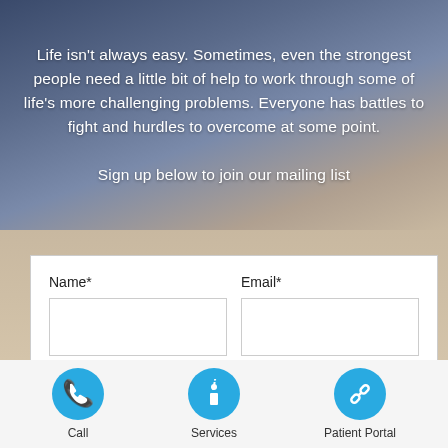Life isn't always easy. Sometimes, even the strongest people need a little bit of help to work through some of life's more challenging problems. Everyone has battles to fight and hurdles to overcome at some point.

Sign up below to join our mailing list
[Figure (screenshot): Web form with Name* and Email* input fields and a question 'May we email you about this?*']
May we email you about this?*
[Figure (infographic): Footer navigation with three circular blue icon buttons: Call (phone handset icon), Services (info icon), Patient Portal (link/chain icon)]